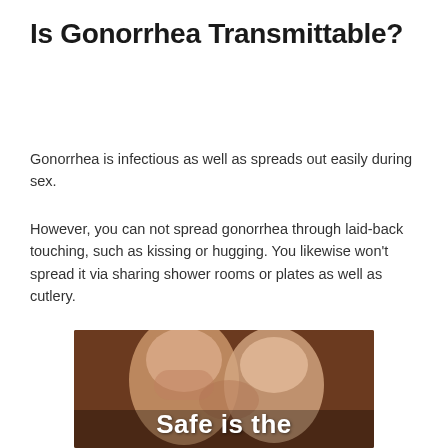Is Gonorrhea Transmittable?
Gonorrhea is infectious as well as spreads out easily during sex.
However, you can not spread gonorrhea through laid-back touching, such as kissing or hugging. You likewise won’t spread it via sharing shower rooms or plates as well as cutlery.
[Figure (photo): Photo of a couple about to kiss, with white bold text overlay reading 'Safe is the']